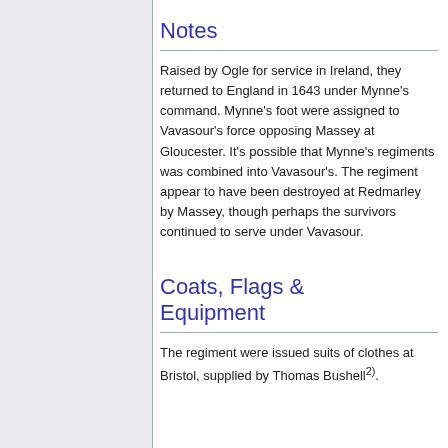Notes
Raised by Ogle for service in Ireland, they returned to England in 1643 under Mynne's command. Mynne's foot were assigned to Vavasour's force opposing Massey at Gloucester. It's possible that Mynne's regiments was combined into Vavasour's. The regiment appear to have been destroyed at Redmarley by Massey, though perhaps the survivors continued to serve under Vavasour.
Coats, Flags & Equipment
The regiment were issued suits of clothes at Bristol, supplied by Thomas Bushell(2).